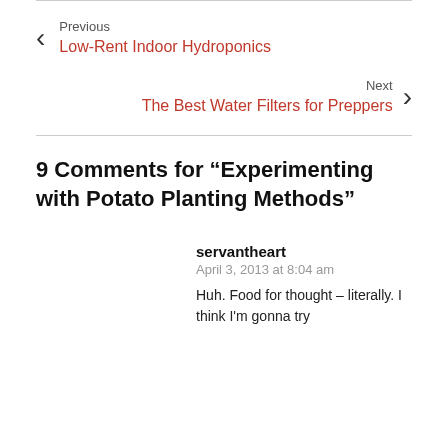Previous
Low-Rent Indoor Hydroponics
Next
The Best Water Filters for Preppers
9 Comments for “Experimenting with Potato Planting Methods”
servantheart
April 3, 2013 at 8:04 am
Huh. Food for thought – literally. I think I’m gonna try